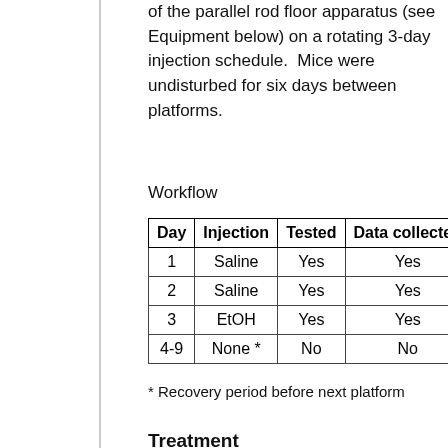of the parallel rod floor apparatus (see Equipment below) on a rotating 3-day injection schedule.  Mice were undisturbed for six days between platforms.
Workflow
| Day | Injection | Tested | Data collected |
| --- | --- | --- | --- |
| 1 | Saline | Yes | Yes |
| 2 | Saline | Yes | Yes |
| 3 | EtOH | Yes | Yes |
| 4-9 | None * | No | No |
* Recovery period before next platform
Treatment
| Dose | 2g EtOH per kg body weight [g/k... |
| --- | --- |